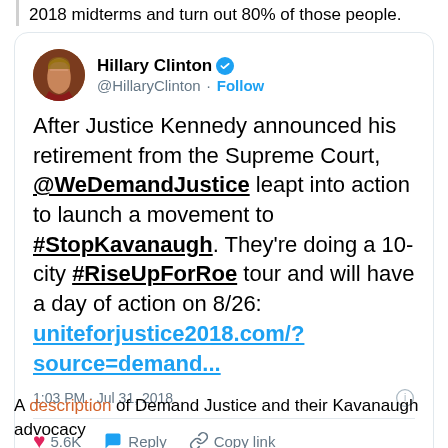2018 midterms and turn out 80% of those people.
[Figure (screenshot): Tweet by Hillary Clinton (@HillaryClinton) with verified badge and Follow button. Tweet text: After Justice Kennedy announced his retirement from the Supreme Court, @WeDemandJustice leapt into action to launch a movement to #StopKavanaugh. They're doing a 10-city #RiseUpForRoe tour and will have a day of action on 8/26: uniteforjustice2018.com/?source=demand... Timestamp: 1:03 PM · Jul 31, 2018. Likes: 5.6K. Actions: Reply, Copy link. Read 317 replies button.]
A description of Demand Justice and their Kavanaugh advocacy